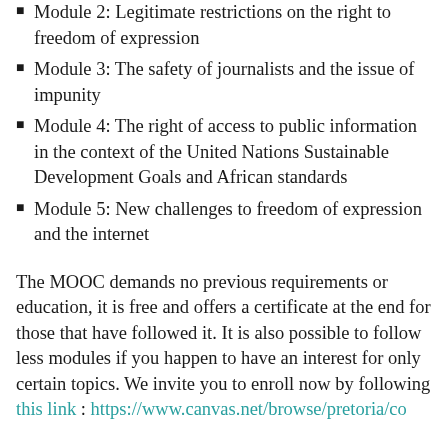Module 2: Legitimate restrictions on the right to freedom of expression
Module 3: The safety of journalists and the issue of impunity
Module 4: The right of access to public information in the context of the United Nations Sustainable Development Goals and African standards
Module 5: New challenges to freedom of expression and the internet
The MOOC demands no previous requirements or education, it is free and offers a certificate at the end for those that have followed it. It is also possible to follow less modules if you happen to have an interest for only certain topics. We invite you to enroll now by following this link : https://www.canvas.net/browse/pretoria/co